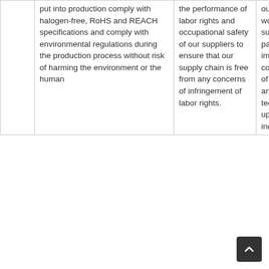|  | put into production comply with halogen-free, RoHS and REACH specifications and comply with environmental regulations during the production process without risk of harming the environment or the human | the performance of labor rights and occupational safety of our suppliers to ensure that our supply chain is free from any concerns of infringement of labor rights. | our suppliers, and work with our supply chain partners to improve the competitiveness of our products and promote the technological upgrade of our industry chain. |